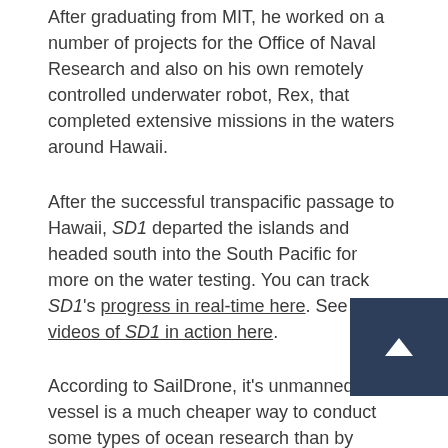After graduating from MIT, he worked on a number of projects for the Office of Naval Research and also on his own remotely controlled underwater robot, Rex, that completed extensive missions in the waters around Hawaii.
After the successful transpacific passage to Hawaii, SD1 departed the islands and headed south into the South Pacific for more on the water testing. You can track SD1's progress in real-time here. See videos of SD1 in action here.
According to SailDrone, it's unmanned vessel is a much cheaper way to conduct some types of ocean research than by using larger, more expensive research vessels. Some of the projects Saildrone is slated to work on include these items from the Saildrone web site: